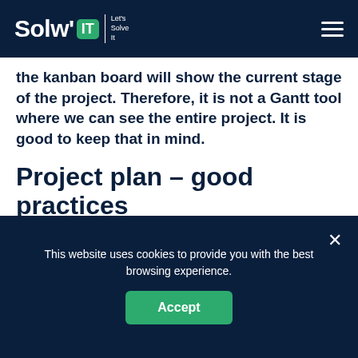Solw'IT — Let's Solve It
the kanban board will show the current stage of the project. Therefore, it is not a Gantt tool where we can see the entire project. It is good to keep that in mind.
Project plan – good practices
The selection of the right methodology or practices is important because it defines the
This website uses cookies to provide you with the best browsing experience.